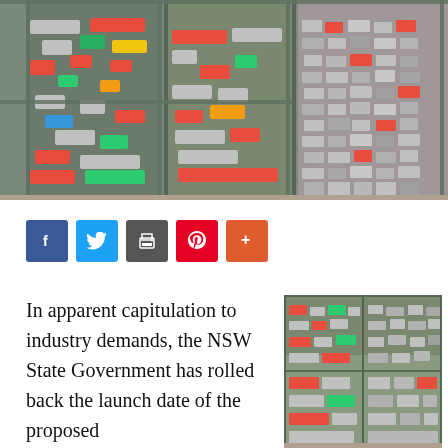[Figure (photo): Wire mesh cages filled with crushed recyclable cans and plastic bottles at a recycling facility]
[Figure (infographic): Social media sharing buttons: Facebook (blue), Twitter (blue), Print (grey), Pinterest (red), More (orange-red)]
In apparent capitulation to industry demands, the NSW State Government has rolled back the launch date of the proposed
[Figure (photo): Wire mesh cages filled with crushed recyclable cans and bottles at a recycling facility]